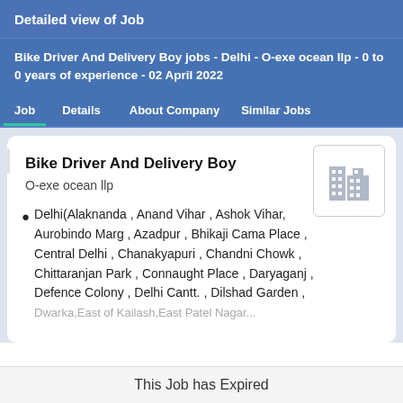Detailed view of Job
Bike Driver And Delivery Boy jobs - Delhi - O-exe ocean llp - 0 to 0 years of experience - 02 April 2022
Job | Details | About Company | Similar Jobs
Bike Driver And Delivery Boy
O-exe ocean llp
[Figure (illustration): Company logo placeholder — grey building/office icon]
Delhi(Alaknanda , Anand Vihar , Ashok Vihar, Aurobindo Marg , Azadpur , Bhikaji Cama Place , Central Delhi , Chanakyapuri , Chandni Chowk , Chittaranjan Park , Connaught Place , Daryaganj , Defence Colony , Delhi Cantt. , Dilshad Garden , ...